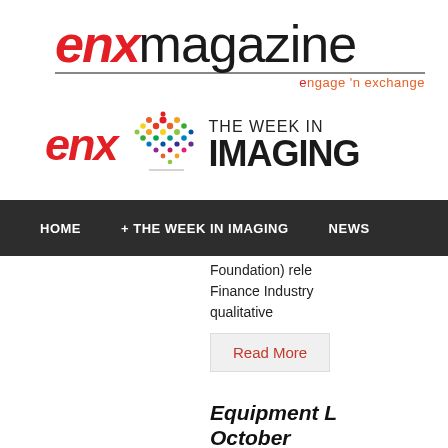[Figure (logo): ENX Magazine logo with red italic 'enx' text and black 'magazine' text, underline bar, and 'engage n exchange' tagline in orange]
[Figure (logo): ENX The Week in Imaging logo with red italic 'enx', colorful diamond/prism shape, and 'THE WEEK IN IMAGING' text]
HOME   + THE WEEK IN IMAGING   NEWS
Foundation) rele Finance Industry qualitative
Read More
Equipment L October
Thursday, Octobe